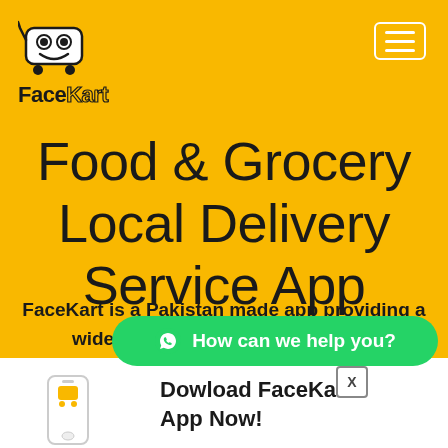[Figure (logo): FaceKart logo with shopping cart icon and text 'FaceKart' in bold]
[Figure (other): Hamburger menu icon with white border rectangle]
Food & Grocery Local Delivery Service App
FaceKart is a Pakistan made app providing a wide range of se... essential services to our users. These
[Figure (other): WhatsApp button with text 'How can we help you?']
[Figure (other): Small FaceKart phone app icon at bottom left]
Dowload FaceKart App Now!